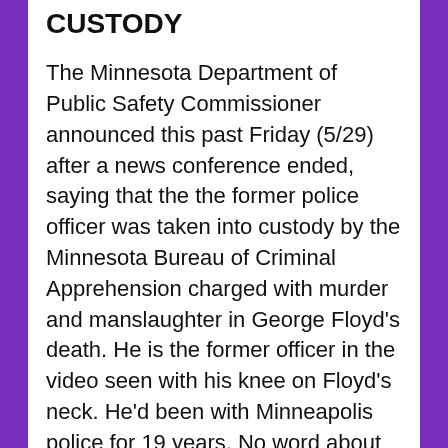CUSTODY
The Minnesota Department of Public Safety Commissioner announced this past Friday (5/29) after a news conference ended, saying that the the former police officer was taken into custody by the Minnesota Bureau of Criminal Apprehension charged with murder and manslaughter in George Floyd's death. He is the former officer in the video seen with his knee on Floyd's neck. He'd been with Minneapolis police for 19 years. No word about the other three officers who were involved and fired from the department. Protests over the death of George Floyd flared up in several U.S. cities, including Chicago, Oakland, New York, and Denver. Demonstrators stormed a police precinct in Minneapolis and set it on fire. Minneapolis